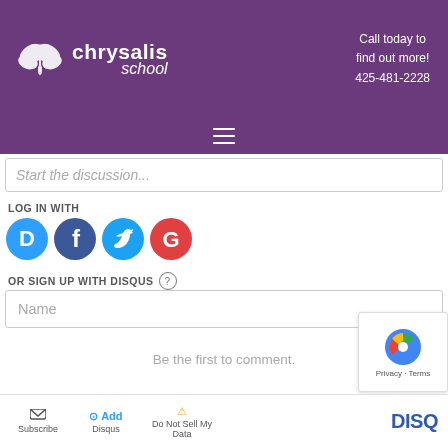[Figure (logo): Chrysalis School logo with butterfly icon, white text on purple background, and call to action phone number]
[Figure (screenshot): Hamburger menu icon (three horizontal lines) on purple background]
Start the discussion...
LOG IN WITH
[Figure (screenshot): Social login icons: Disqus (blue D), Facebook (blue F), Twitter (blue bird), Google (red G)]
OR SIGN UP WITH DISQUS ?
Name
Be the first to comment.
Subscribe  Add Disqus  Do Not Sell My Data  DISQUS  Privacy · Terms